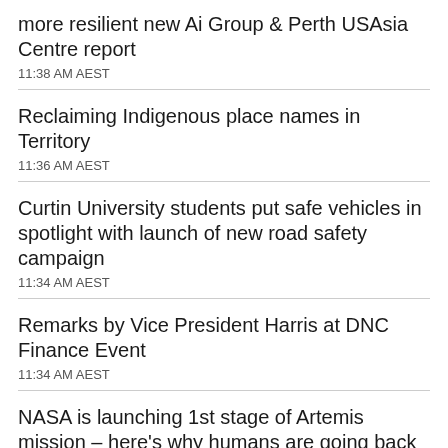more resilient new Ai Group & Perth USAsia Centre report
11:38 AM AEST
Reclaiming Indigenous place names in Territory
11:36 AM AEST
Curtin University students put safe vehicles in spotlight with launch of new road safety campaign
11:34 AM AEST
Remarks by Vice President Harris at DNC Finance Event
11:34 AM AEST
NASA is launching 1st stage of Artemis mission – here's why humans are going back to Moon
11:34 AM AEST